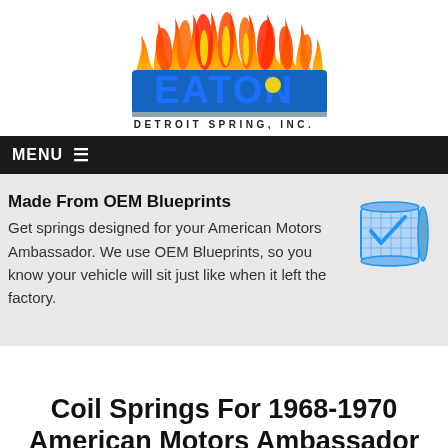[Figure (logo): Eaton Detroit Spring Inc. logo with flames above blue block letters spelling EATON, and tagline DETROIT SPRING, INC. below]
MENU ≡
Made From OEM Blueprints
Get springs designed for your American Motors Ambassador. We use OEM Blueprints, so you know your vehicle will sit just like when it left the factory.
[Figure (illustration): Blueprint scroll icon in blue line art style]
Coil Springs For 1968-1970 American Motors Ambassador